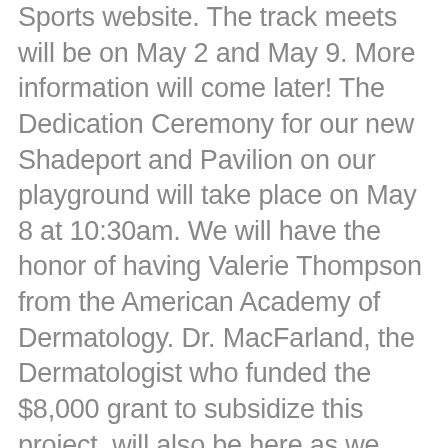Sports website. The track meets will be on May 2 and May 9. More information will come later! The Dedication Ceremony for our new Shadeport and Pavilion on our playground will take place on May 8 at 10:30am. We will have the honor of having Valerie Thompson from the American Academy of Dermatology. Dr. MacFarland, the Dermatologist who funded the $8,000 grant to subsidize this project, will also be here as we unveil the new shaded areas for our students! We are very excited about this project and grateful for all of our donors who made this possible. All donors will be invited to attend this dedication. Parents and other community members will also be invited. Thank you to Diane Braswell who secured the grant that enabled us to build these shaded areas for our students! Mark Your Calendars for our upcoming Town Hall meeting on May 7 in the Parish Hall. School